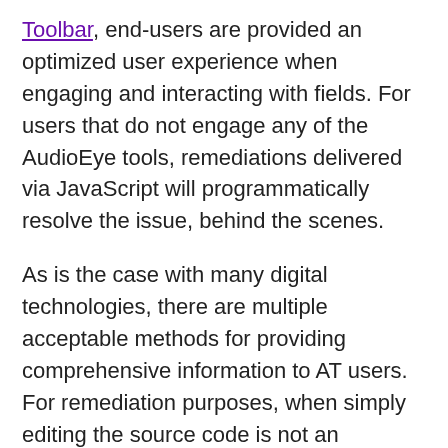Toolbar, end-users are provided an optimized user experience when engaging and interacting with fields. For users that do not engage any of the AudioEye tools, remediations delivered via JavaScript will programmatically resolve the issue, behind the scenes.
As is the case with many digital technologies, there are multiple acceptable methods for providing comprehensive information to AT users. For remediation purposes, when simply editing the source code is not an immediate option, AudioEye prefers not to alter the overall structure of the website's markup, instead using an aria-describedby attribute. We create a block level element with an ID (e.g.